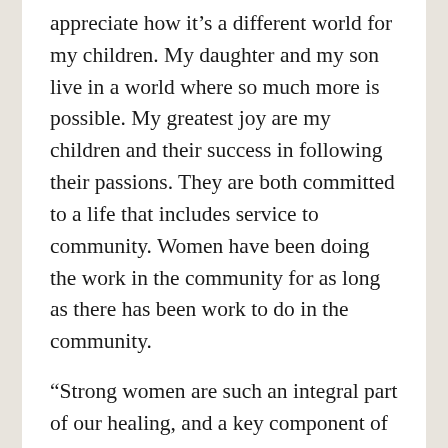appreciate how it's a different world for my children. My daughter and my son live in a world where so much more is possible. My greatest joy are my children and their success in following their passions. They are both committed to a life that includes service to community. Women have been doing the work in the community for as long as there has been work to do in the community.
“Strong women are such an integral part of our healing, and a key component of that is about women connecting with other women in partnership, not competition. I want to see a sisterhood across all spectrums,